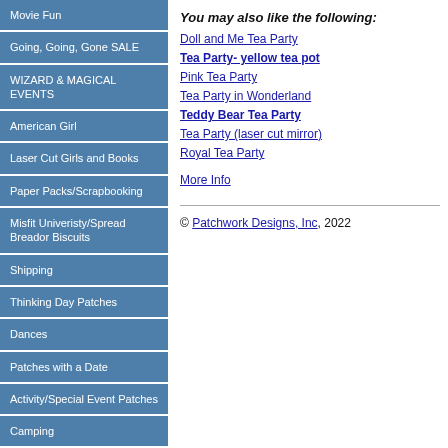Movie Fun
Going, Going, Gone SALE
WIZARD & MAGICAL EVENTS
American Girl
Laser Cut Girls and Books
Paper Packs/Scrapbooking
Misfit Univeristy/Spread Breador Biscuits
Shipping
Thinking Day Patches
Dances
Patches with a Date
Activity/Special Event Patches
Camping
Community Service Activity Patches
You may also like the following:
Doll and Me Tea Party
Tea Party- yellow tea pot
Pink Tea Party
Tea Party in Wonderland
Teddy Bear Tea Party
Tea Party (laser cut mirror)
Royal Tea Party
More Info
© Patchwork Designs, Inc, 2022